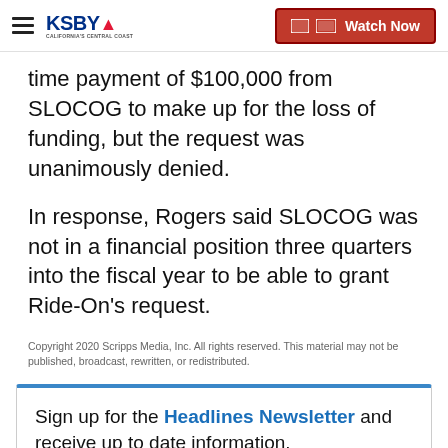KSBY California's Central Coast — Watch Now
time payment of $100,000 from SLOCOG to make up for the loss of funding, but the request was unanimously denied.
In response, Rogers said SLOCOG was not in a financial position three quarters into the fiscal year to be able to grant Ride-On's request.
Copyright 2020 Scripps Media, Inc. All rights reserved. This material may not be published, broadcast, rewritten, or redistributed.
Sign up for the Headlines Newsletter and receive up to date information.
E-mail